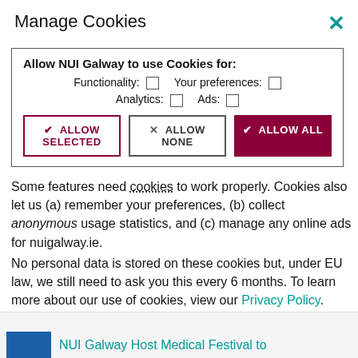Manage Cookies
[Figure (screenshot): Cookie consent dialog with checkboxes for Functionality, Your preferences, Analytics, Ads, and three buttons: Allow Selected, Allow None, Allow All]
Some features need cookies to work properly. Cookies also let us (a) remember your preferences, (b) collect anonymous usage statistics, and (c) manage any online ads for nuigalway.ie.
No personal data is stored on these cookies but, under EU law, we still need to ask you this every 6 months. To learn more about our use of cookies, view our Privacy Policy.
Monday, 9 September 2019
NUI Galway Host Medical Festival to